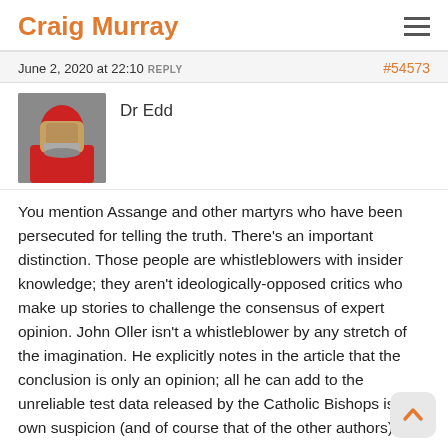Craig Murray
June 2, 2020 at 22:10 REPLY  #54573
Dr Edd
You mention Assange and other martyrs who have been persecuted for telling the truth. There's an important distinction. Those people are whistleblowers with insider knowledge; they aren't ideologically-opposed critics who make up stories to challenge the consensus of expert opinion. John Oller isn't a whistleblower by any stretch of the imagination. He explicitly notes in the article that the conclusion is only an opinion; all he can add to the unreliable test data released by the Catholic Bishops is his own suspicion (and of course that of the other authors).
No. John Oller isn't alone on that roll of dishonour. In the 'Author's